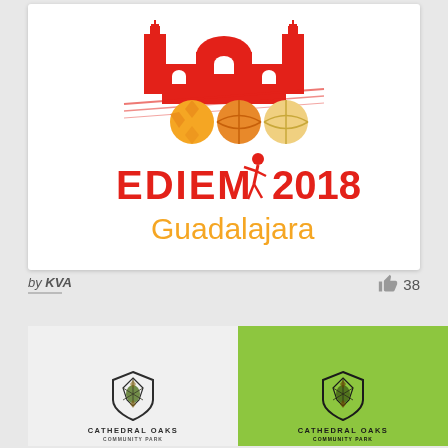[Figure (logo): EDIEM 2018 Guadalajara sports logo featuring a cathedral/building illustration in red above three sports balls (soccer, basketball, volleyball) with a running figure, text reads 'EDIEM 2018' in red and 'Guadalajara' in orange/gold]
by KVA
38
[Figure (logo): Cathedral Oaks logo on light grey background — shield crest with geometric/pine cone design, text 'CATHEDRAL OAKS' below in dark bold capitals with a subtitle line]
[Figure (logo): Cathedral Oaks logo on green background — same shield crest with geometric/pine cone design, text 'CATHEDRAL OAKS' below in dark bold capitals with a subtitle line]